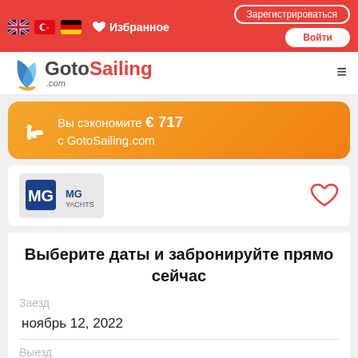Избранное | Зарегистрироваться | Войти
[Figure (logo): GotoSailing.com logo with sailing boat icon]
Вы сэкономите € 717 с GotoSailing.com
[Figure (logo): MG Yachts logo]
Выберите даты и забронируйте прямо сейчас
Заезд
ноябрь 12, 2022
Выезд
ноябрь 19, 2022